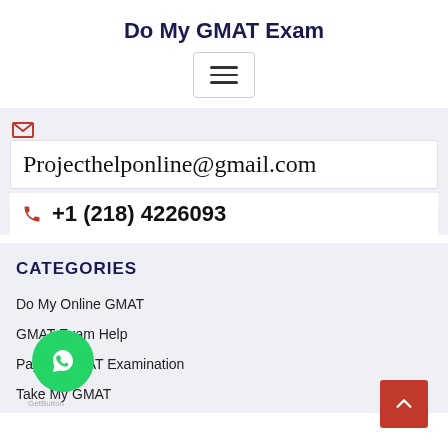Do My GMAT Exam
[Figure (other): Hamburger/navigation menu button]
Projecthelponline@gmail.com
+1 (218) 4226093
CATEGORIES
Do My Online GMAT
GMAT Exam Help
Pay for GMAT Examination
Take My GMAT
[Figure (other): WhatsApp GetButton floating chat button]
[Figure (other): Back to top red button with upward chevron]